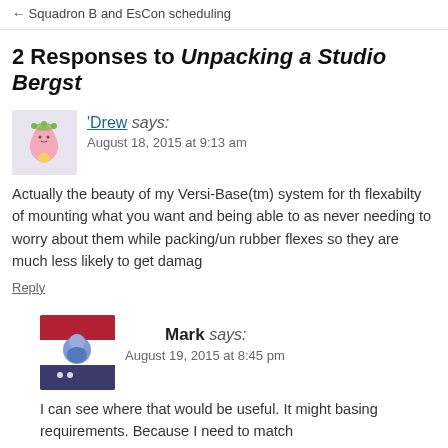← Squadron B and EsCon scheduling
2 Responses to Unpacking a Studio Bergst
[Figure (illustration): Small avatar illustration of a cartoon pink character with a crown/wreath]
'Drew says: August 18, 2015 at 9:13 am
Actually the beauty of my Versi-Base(tm) system for th flexabilty of mounting what you want and being able to as never needing to worry about them while packing/un rubber flexes so they are much less likely to get damag
Reply
[Figure (photo): Small avatar photo of Mark, showing a patriotic-themed image]
Mark says: August 19, 2015 at 8:45 pm
I can see where that would be useful. It might basing requirements. Because I need to match